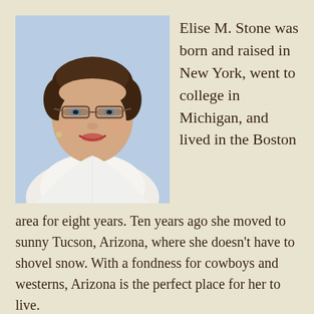[Figure (photo): Portrait photo of Elise M. Stone, a woman with short brown hair wearing glasses and a white jacket, against a light blue background.]
Elise M. Stone was born and raised in New York, went to college in Michigan, and lived in the Boston area for eight years. Ten years ago she moved to sunny Tucson, Arizona, where she doesn't have to shovel snow. With a fondness for cowboys and westerns, Arizona is the perfect place for her to live.